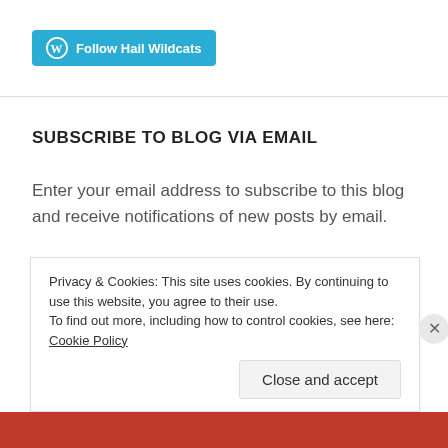[Figure (logo): Follow Hail Wildcats button with WordPress icon in teal/cyan color]
SUBSCRIBE TO BLOG VIA EMAIL
Enter your email address to subscribe to this blog and receive notifications of new posts by email.
Enter your email address (input field)
Privacy & Cookies: This site uses cookies. By continuing to use this website, you agree to their use.
To find out more, including how to control cookies, see here: Cookie Policy
Close and accept